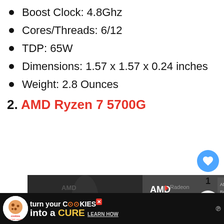Boost Clock: 4.8Ghz
Cores/Threads: 6/12
TDP: 65W
Dimensions: 1.57 x 1.57 x 0.24 inches
Weight: 2.8 Ounces
2. AMD Ryzen 7 5700G
[Figure (photo): AMD Ryzen 7 5700G processor retail box showing the AMD Radeon logo, Ryzen branding, and included CPU cooler fan on the left side]
WHAT'S NEXT → 5 Best CPU for Gaming
turn your COOKIES into a CURE LEARN HOW